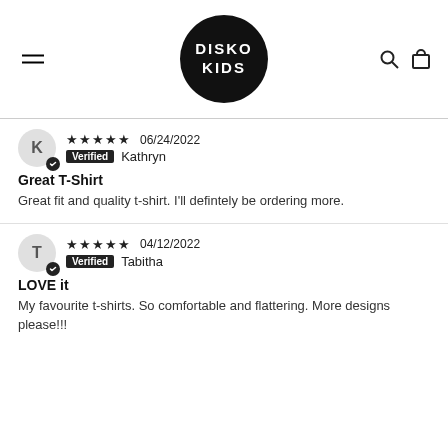[Figure (logo): Disko Kids logo: black circle with white text DISKO KIDS]
★★★★★ 06/24/2022
Verified Kathryn
Great T-Shirt
Great fit and quality t-shirt. I'll defintely be ordering more.
★★★★★ 04/12/2022
Verified Tabitha
LOVE it
My favourite t-shirts. So comfortable and flattering. More designs please!!!